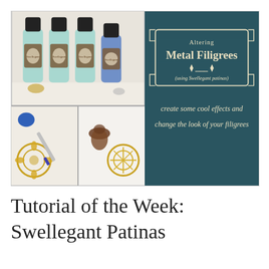[Figure (photo): Collage of product photos showing Swellegant Patina bottles (aqua/teal and blue colored bottles with brown labels), a brush applying blue patina to a gold filigree piece, and finished metal filigrees in brown/antique and gold styles. Right side shows a dark teal chalkboard panel with decorative badge reading 'Altering Metal Filigrees (using Swellegant patinas)' and text 'create some cool effects and change the look of your filigrees']
Tutorial of the Week: Swellegant Patinas